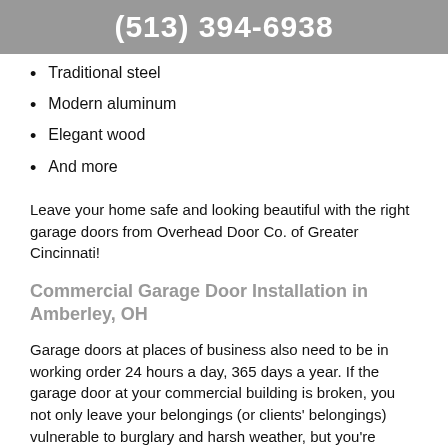(513) 394-6938
Traditional steel
Modern aluminum
Elegant wood
And more
Leave your home safe and looking beautiful with the right garage doors from Overhead Door Co. of Greater Cincinnati!
Commercial Garage Door Installation in Amberley, OH
Garage doors at places of business also need to be in working order 24 hours a day, 365 days a year. If the garage door at your commercial building is broken, you not only leave your belongings (or clients' belongings) vulnerable to burglary and harsh weather, but you're leaving your business at a high risk for significant financial losses, a drop in productivity, and damage to your reputation.